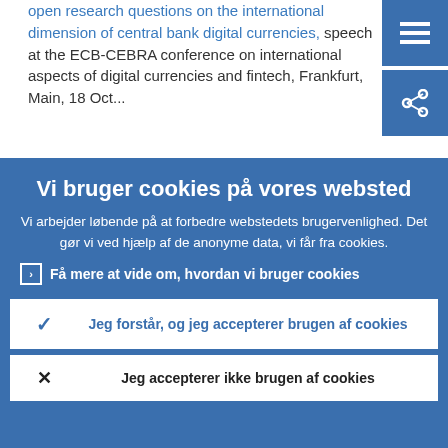open research questions on the international dimension of central bank digital currencies, speech at the ECB-CEBRA conference on international aspects of digital currencies and fintech, Frankfurt, Main, 18 Oct...
Vi bruger cookies på vores websted
Vi arbejder løbende på at forbedre webstedets brugervenlighed. Det gør vi ved hjælp af de anonyme data, vi får fra cookies.
Få mere at vide om, hvordan vi bruger cookies
Jeg forstår, og jeg accepterer brugen af cookies
Jeg accepterer ikke brugen af cookies